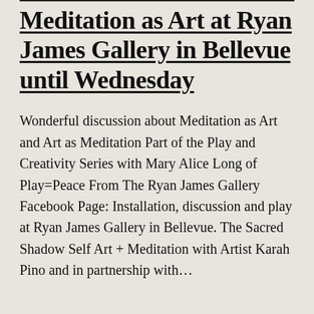Meditation as Art at Ryan James Gallery in Bellevue until Wednesday
Wonderful discussion about Meditation as Art and Art as Meditation Part of the Play and Creativity Series with Mary Alice Long of Play=Peace From The Ryan James Gallery Facebook Page: Installation, discussion and play at Ryan James Gallery in Bellevue. The Sacred Shadow Self Art + Meditation with Artist Karah Pino and in partnership with…